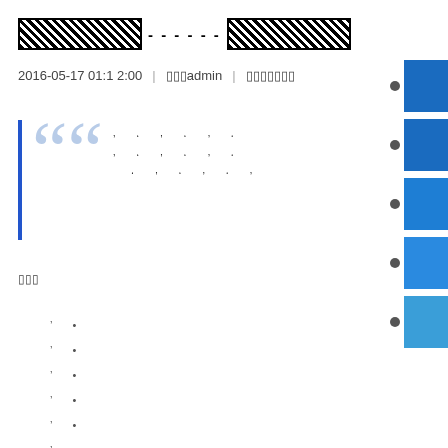XXXXXXXXXXXXXXX---------XXXXXXXXXXXXXXX
2016-05-17 01:12:00 | □□□admin | □□□□□□□
" " , ' , ' , ' , ' , ' , ' ' , ' , ' , ' , ' , ' , ' , ' , '
□□□
, .
, .
, .
, .
, .
, .